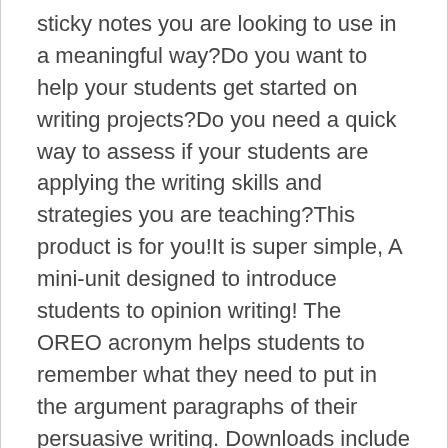sticky notes you are looking to use in a meaningful way?Do you want to help your students get started on writing projects?Do you need a quick way to assess if your students are applying the writing skills and strategies you are teaching?This product is for you!It is super simple, A mini-unit designed to introduce students to opinion writing! The OREO acronym helps students to remember what they need to put in the argument paragraphs of their persuasive writing. Downloads include a colour and a black and white version. Mar 3, 2013 - Use this "mega-stuffed" oreo organizer for writing 5 paragraph opinion essays. Arts and Humanities Social Studies Grades. Use these colourful OREO Persuasive Writing Frames with your students to help them plan their persuasive paragraphs and arguments. This is a scripted minilesson that